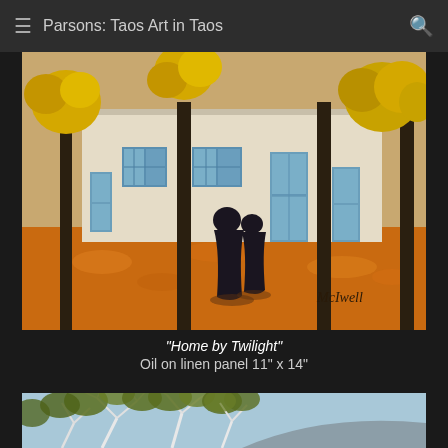Parsons: Taos Art in Taos
[Figure (illustration): Oil painting titled 'Home by Twilight' showing two dark-robed figures walking in front of a white adobe building with blue shutters and doors, yellow autumn trees, orange ground, signed 'McIwell']
"Home by Twilight"
Oil on linen panel  11" x 14"
[Figure (illustration): Partial view of another painting showing white branching tree limbs on a light blue background with dark olive green foliage]